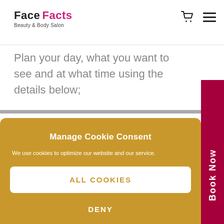Face Facts Beauty & Body Salon
Plan your day, what you want to see and at what time using the details below;
Manage Cookie Consent
We use cookies to optimize our website and our service.
ALL COOKIES
DENY
Cookie policy